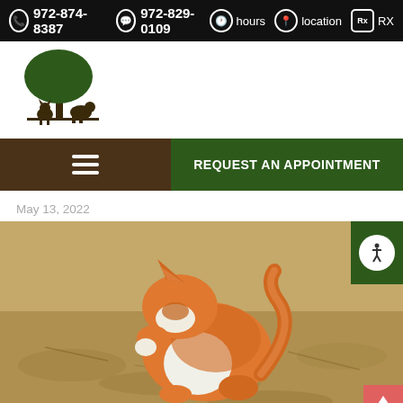972-874-8387  972-829-0109  hours  location  RX
[Figure (logo): Veterinary clinic logo with green tree and silhouettes of a cat and dog]
REQUEST AN APPOINTMENT
May 13, 2022
[Figure (photo): Orange and white cat scratching itself outdoors on dry ground]